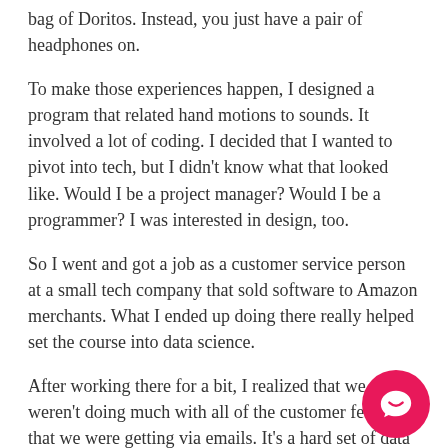bag of Doritos. Instead, you just have a pair of headphones on.
To make those experiences happen, I designed a program that related hand motions to sounds. It involved a lot of coding. I decided that I wanted to pivot into tech, but I didn't know what that looked like. Would I be a project manager? Would I be a programmer? I was interested in design, too.
So I went and got a job as a customer service person at a small tech company that sold software to Amazon merchants. What I ended up doing there really helped set the course into data science.
After working there for a bit, I realized that we weren't doing much with all of the customer feedback that we were getting via emails. It's a hard set of data to parse—you'd actually have to go and read it. That would take a lot of time. So we built this little product to deal
[Figure (other): Pink circular chat button with white speech bubble icon in bottom right corner]